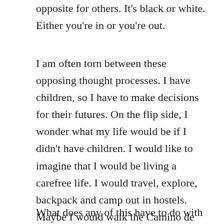opposite for others. It's black or white. Either you're in or you're out.
I am often torn between these opposing thought processes. I have children, so I have to make decisions for their futures. On the flip side, I wonder what my life would be if I didn't have children. I would like to imagine that I would be living a carefree life. I would travel, explore, backpack and camp out in hostels. Maybe I would walk the Camino de Santiago. Saying that I would live the life of a nomad sans children does not mean that I regret having my girls, or feel like I am being held back by them. Not at all. The path that I am on now is one that I chose. I am want to be here.
What does any of this have to do with rocking chairs